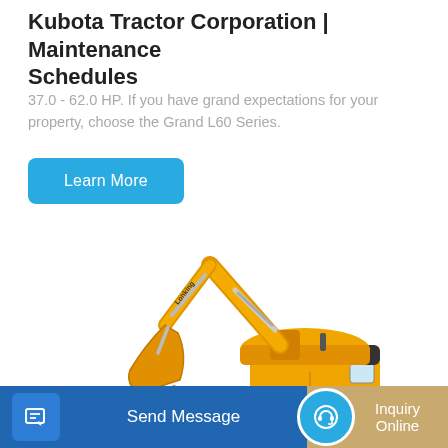Kubota Tractor Corporation | Maintenance Schedules
37.0 - 62.0 HP. If you have grand expectations for your property, choose the Grand L60 Series.
[Figure (other): A cyan/blue 'Learn More' button]
[Figure (illustration): Yellow Lonking excavator with extended boom and bucket, shown in side profile on white background]
[Figure (other): Bottom action bar with 'Send Message' button (blue) on the left and 'Inquiry Online' button (tan/gold) on the right, each with an icon]